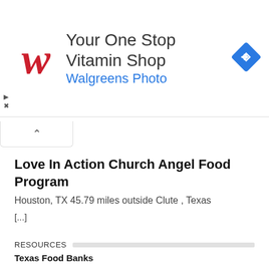[Figure (other): Walgreens advertisement banner: 'Your One Stop Vitamin Shop' with Walgreens cursive W logo in red and a blue diamond navigation arrow icon. Subtext: 'Walgreens Photo' in blue. Ad controls (play and close icons) on left.]
[Figure (other): Collapse/accordion button with upward caret chevron symbol]
Love In Action Church Angel Food Program
Houston, TX 45.79 miles outside Clute , Texas
[...]
RESOURCES
Texas Food Banks